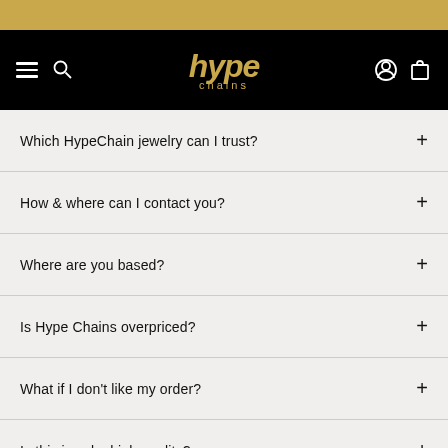[Figure (logo): Hype Chains brand logo in gold italic text on black navigation bar]
Which HypeChain jewelry can I trust?
How & where can I contact you?
Where are you based?
Is Hype Chains overpriced?
What if I don't like my order?
Is this jewelry high quality?